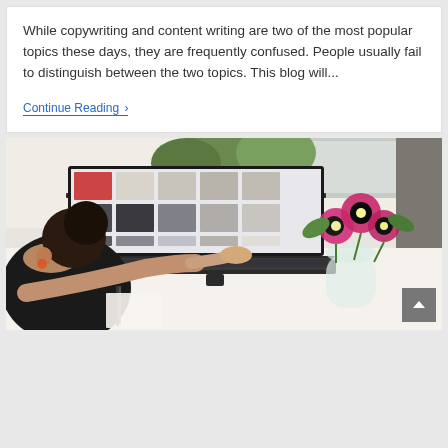While copywriting and content writing are two of the most popular topics these days, they are frequently confused. People usually fail to distinguish between the two topics. This blog will...
Continue Reading ›
[Figure (photo): A woman seen from behind sitting at a white desk, working on a laptop displaying a grid of images (possibly Pinterest or a mood board). Pink anemone flowers in a glass vase are on the right side of the desk. A white coffee mug and green plants are also visible.]